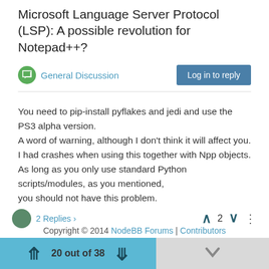Microsoft Language Server Protocol (LSP): A possible revolution for Notepad++?
General Discussion
Log in to reply
You need to pip-install pyflakes and jedi and use the PS3 alpha version.
A word of warning, although I don't think it will affect you.
I had crashes when using this together with Npp objects.
As long as you only use standard Python scripts/modules, as you mentioned,
you should not have this problem.
2 Replies >  2
Copyright © 2014 NodeBB Forums | Contributors
20 out of 38